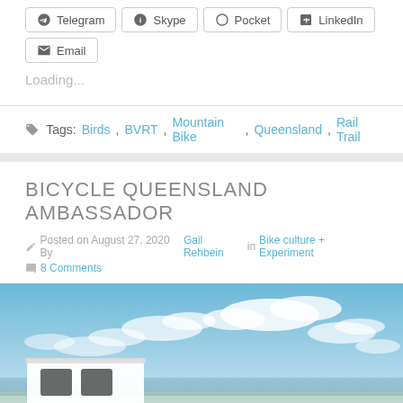Telegram
Skype
Pocket
LinkedIn
Email
Loading...
Tags: Birds, BVRT, Mountain Bike, Queensland, Rail Trail
BICYCLE QUEENSLAND AMBASSADOR
Posted on August 27, 2020 By Gail Rehbein in Bike culture + Experiment  8 Comments
[Figure (photo): Blue sky with white fluffy clouds and partial view of a white vehicle or caravan in the foreground, with ocean visible on the horizon]